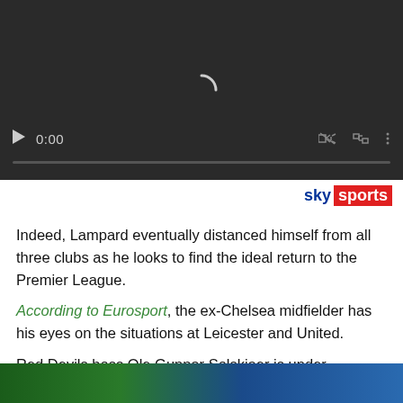[Figure (screenshot): Video player with dark background showing loading spinner, play button, 0:00 timestamp, mute icon, fullscreen icon, and options icon, with a progress bar at the bottom]
[Figure (logo): Sky Sports logo — 'sky' in dark blue bold text followed by 'sports' in white bold text on a red background]
Indeed, Lampard eventually distanced himself from all three clubs as he looks to find the ideal return to the Premier League.
According to Eurosport, the ex-Chelsea midfielder has his eyes on the situations at Leicester and United.
Red Devils boss Ole Gunnar Solskjaer is under continued pressure following six defeats in 12 games. The last two games at Old Trafford – both defeats to Manchester City and Liverpool – have proved particularly damning.
[Figure (photo): Partial bottom image showing a sports-related photo with green and blue tones]